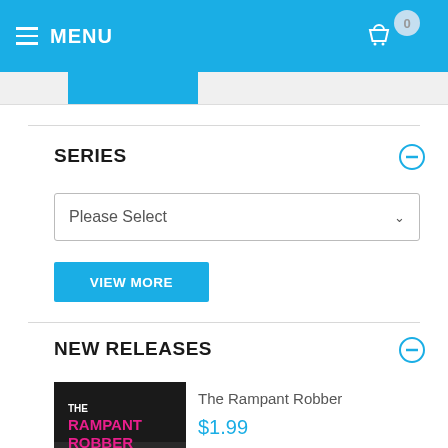MENU
SERIES
Please Select
VIEW MORE
NEW RELEASES
[Figure (illustration): Book cover for The Rampant Robber by T.L. Taylor, with pink/magenta title text on dark background]
The Rampant Robber
$1.99